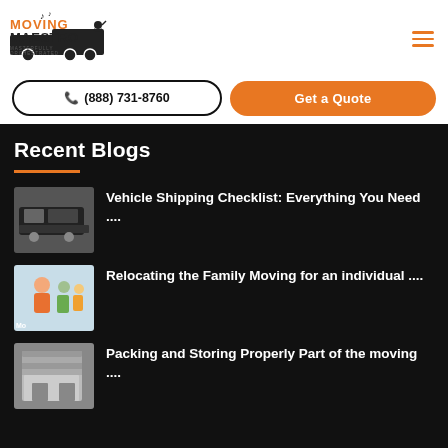[Figure (logo): Moving Maestro logo with text and moving truck illustration]
(888) 731-8760
Get a Quote
Recent Blogs
Vehicle Shipping Checklist: Everything You Need ....
Relocating the Family Moving for an individual ....
Packing and Storing Properly Part of the moving ....